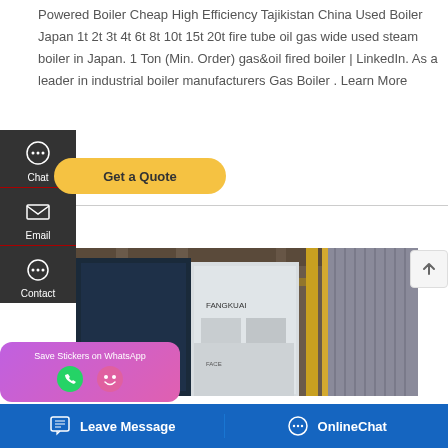Powered Boiler Cheap High Efficiency Tajikistan China Used Boiler Japan 1t 2t 3t 4t 6t 8t 10t 15t 20t fire tube oil gas wide used steam boiler in Japan. 1 Ton (Min. Order) gas&oil fired boiler | LinkedIn. As a leader in industrial boiler manufacturers Gas Boiler . Learn More
[Figure (screenshot): Left sidebar with Chat, Email, and Contact icons on dark background, and a yellow Get a Quote button]
[Figure (photo): Industrial boiler equipment installation showing large white and dark boiler units with yellow/gold pipes and metal framework in a factory setting]
[Figure (screenshot): WhatsApp sticker save popup with purple/pink gradient background showing two circular icons]
[Figure (screenshot): Blue footer bar with Leave Message and OnlineChat buttons]